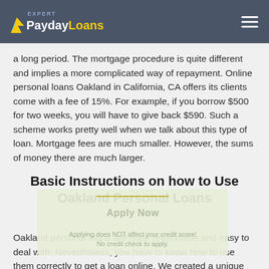Expert PaydayLoans
a long period. The mortgage procedure is quite different and implies a more complicated way of repayment. Online personal loans Oakland in California, CA offers its clients come with a fee of 15%. For example, if you borrow $500 for two weeks, you will have to give back $590. Such a scheme works pretty well when we talk about this type of loan. Mortgage fees are much smaller. However, the sums of money there are much larger.
Basic Instructions on how to Use Oakland Personal Loans
[Figure (other): Apply Now call-to-action overlay box with decorative line, 'Apply Now' button text, and subtext 'Applying does NOT affect your credit score! No credit check to apply.']
Oakland personal loans are quite reasonable and easy to deal with. Nevertheless, you have to know how to use them correctly to get a loan online. We created a unique guide